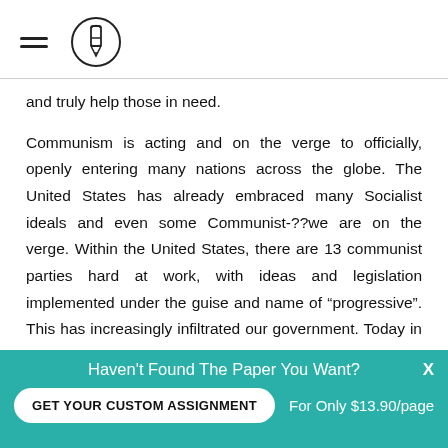[hamburger menu icon] [logo: pencil in circle]
and truly help those in need.
Communism is acting and on the verge to officially, openly entering many nations across the globe. The United States has already embraced many Socialist ideals and even some Communist-??we are on the verge. Within the United States, there are 13 communist parties hard at work, with ideas and legislation implemented under the guise and name of “progressive”. This has increasingly infiltrated our government. Today in America,
Haven't Found The Paper You Want? X  GET YOUR CUSTOM ASSIGNMENT  For Only $13.90/page